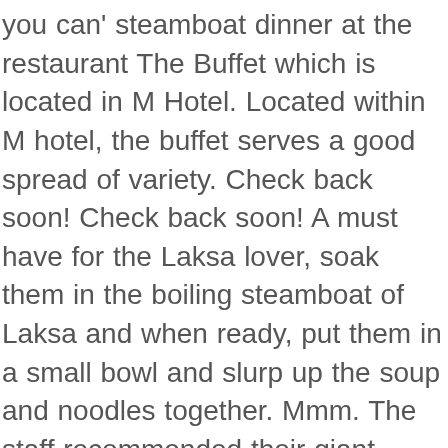you can' steamboat dinner at the restaurant The Buffet which is located in M Hotel. Located within M hotel, the buffet serves a good spread of variety. Check back soon! Check back soon! A must have for the Laksa lover, soak them in the boiling steamboat of Laksa and when ready, put them in a small bowl and slurp up the soup and noodles together. Mmm. The staff recommended their giant Seafood Steamboat ($118++ for two, $148++ for three to four), and we decided on the $148++ one with a clear broth instead of ma la. We're on Telegram! Within walking distance of Jalan Besar MRT is Onepot Steamboat, the one-stop shop to satisfy all your hotpot buffet cravings. For your entertainment, we have live music. Even without the discount, the price is also very decent, $16.80 for Adults, and $12.80 for senior citizens / children.The selection is the usual